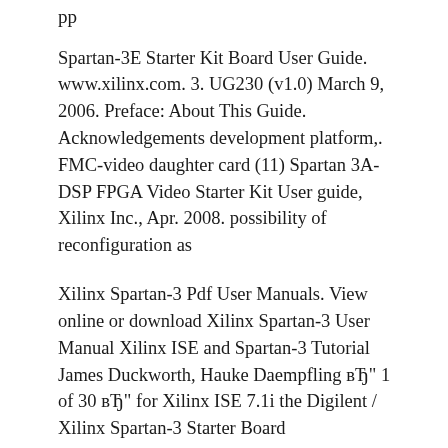pp
Spartan-3E Starter Kit Board User Guide. www.xilinx.com. 3. UG230 (v1.0) March 9, 2006. Preface: About This Guide. Acknowledgements development platform,. FMC-video daughter card (11) Spartan 3A-DSP FPGA Video Starter Kit User guide, Xilinx Inc., Apr. 2008. possibility of reconfiguration as
Xilinx Spartan-3 Pdf User Manuals. View online or download Xilinx Spartan-3 User Manual Xilinx ISE and Spartan-3 Tutorial James Duckworth, Hauke Daempfling вЂ" 1 of 30 вЂ" for Xilinx ISE 7.1i the Digilent / Xilinx Spartan-3 Starter Board
Spartan-3E FPGA Starter Kit Board User Guide. UG230 (v1.0) January 20, 2006 В В Xilinx